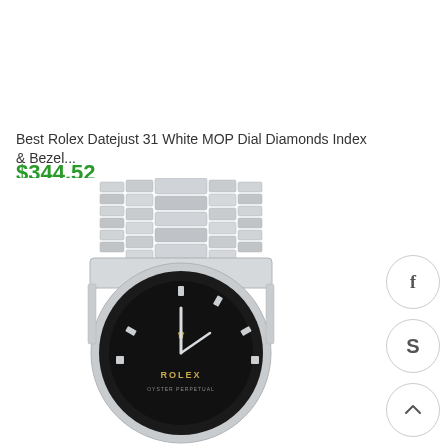Best Rolex Datejust 31 White MOP Dial Diamonds Index & Bezel...
$344.52
[Figure (photo): Rolex Datejust 31 watch with stainless steel jubilee bracelet and black dial with diamond indices, showing the top portion of the watch and bracelet from above]
[Figure (other): Social media buttons: Facebook (f), Skype (S), and scroll-to-top (chevron up) icons in circular bordered buttons on the right side]